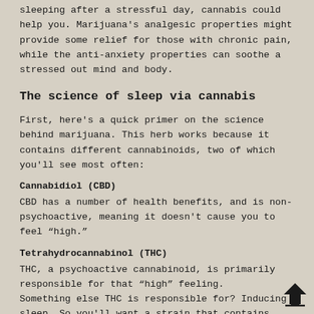sleeping after a stressful day, cannabis could help you. Marijuana's analgesic properties might provide some relief for those with chronic pain, while the anti-anxiety properties can soothe a stressed out mind and body.
The science of sleep via cannabis
First, here's a quick primer on the science behind marijuana. This herb works because it contains different cannabinoids, two of which you'll see most often:
Cannabidiol (CBD)
CBD has a number of health benefits, and is non-psychoactive, meaning it doesn't cause you to feel “high.”
Tetrahydrocannabinol (THC)
THC, a psychoactive cannabinoid, is primarily responsible for that “high” feeling.
Something else THC is responsible for? Inducing sleep. So you'll want a strain that contains more THC than CBD.